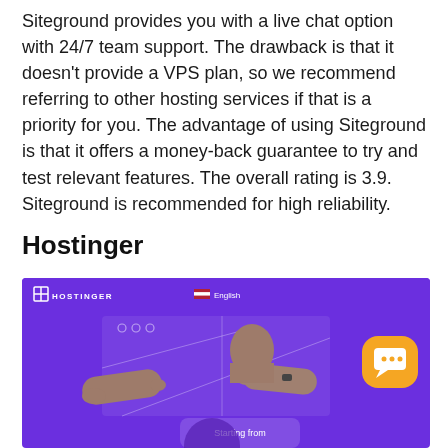Siteground provides you with a live chat option with 24/7 team support. The drawback is that it doesn't provide a VPS plan, so we recommend referring to other hosting services if that is a priority for you. The advantage of using Siteground is that it offers a money-back guarantee to try and test relevant features. The overall rating is 3.9. Siteground is recommended for high reliability.
Hostinger
[Figure (screenshot): Screenshot of the Hostinger website homepage showing a purple background with the Hostinger logo and 'English' language selector at the top, a browser-style window with three circles, human figure 3D renders with arms extended, and an orange chat bubble icon on the right. A 'Starting from' pricing section is partially visible at the bottom.]